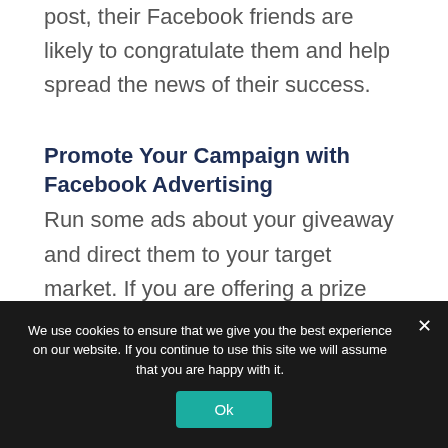post, their Facebook friends are likely to congratulate them and help spread the news of their success.
Promote Your Campaign with Facebook Advertising
Run some ads about your giveaway and direct them to your target market. If you are offering a prize relevant to your business and your target market is well-
We use cookies to ensure that we give you the best experience on our website. If you continue to use this site we will assume that you are happy with it.